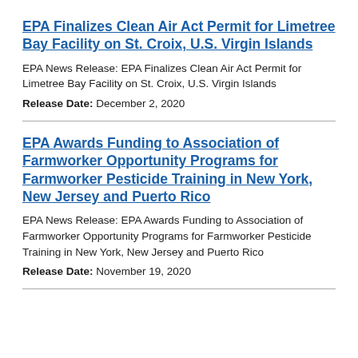EPA Finalizes Clean Air Act Permit for Limetree Bay Facility on St. Croix, U.S. Virgin Islands
EPA News Release: EPA Finalizes Clean Air Act Permit for Limetree Bay Facility on St. Croix, U.S. Virgin Islands
Release Date: December 2, 2020
EPA Awards Funding to Association of Farmworker Opportunity Programs for Farmworker Pesticide Training in New York, New Jersey and Puerto Rico
EPA News Release: EPA Awards Funding to Association of Farmworker Opportunity Programs for Farmworker Pesticide Training in New York, New Jersey and Puerto Rico
Release Date: November 19, 2020